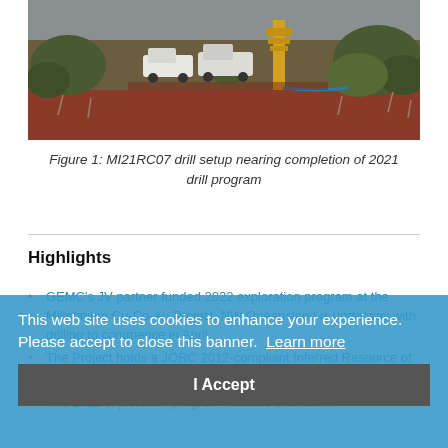[Figure (photo): Aerial/ground-level photograph of a drilling rig setup (MI21RC07) in a remote Australian outback area with red soil and dry scrubland vegetation. Two white trucks and yellow/blue drilling equipment visible.]
Figure 1: MI21RC07 drill setup nearing completion of 2021 drill program
Highlights
GEMC's JV partner funded 2022 exploration program at the Millennium Cu-Co-Au Project, NW Queensland is underway with drilling to commence in April;
The Project holds a JORC 2012-compliant Inferred Resource of 5.9Mt @ 0.8% CuEq2 across 5 granted Mining Leases;
The 2022 exploration program includes extension,